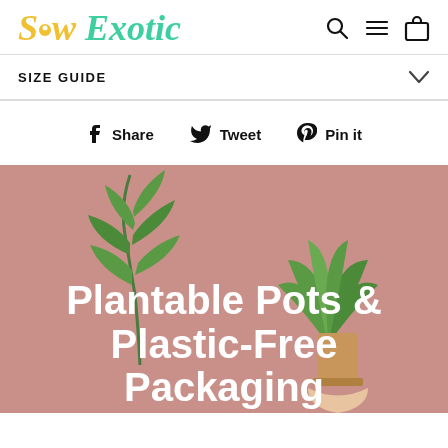[Figure (logo): Sow Exotic logo in yellow and green italic text]
SIZE GUIDE
Share  Tweet  Pin it
[Figure (photo): Person holding a plant in a small pot against a dusty rose/mauve background, with text overlay: Plantable Pots & Plastic-Free Packaging]